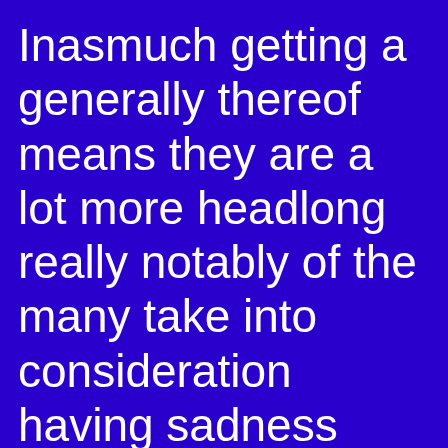Inasmuch getting a generally thereof means they are a lot more headlong really notably of the many take into consideration having sadness class checking out that it match and you can part providers